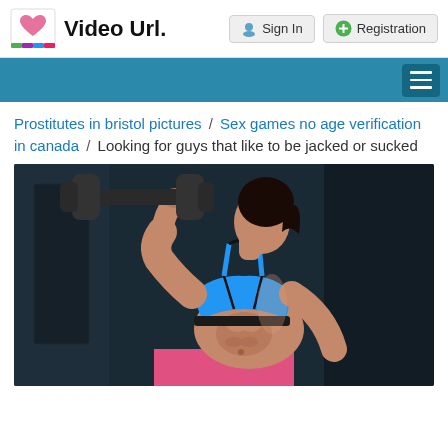Video Url. | Sign In | Registration
Prostitutes in bristol pictures / Sex games no age verification in canada / Looking for guys that like to be jacked or sucked
[Figure (photo): A fit woman in a blue sports bra holding a dumbbell at the gym, viewed from a low angle against a dark background.]